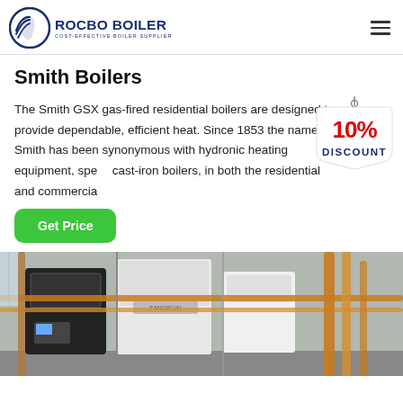ROCBO BOILER - COST-EFFECTIVE BOILER SUPPLIER
Smith Boilers
The Smith GSX gas-fired residential boilers are designed to provide dependable, efficient heat. Since 1853 the name Smith has been synonymous with hydronic heating equipment, specifically cast-iron boilers, in both the residential and commercial
[Figure (infographic): 10% DISCOUNT badge/sticker in red and blue text on a white tag shape]
[Figure (photo): Industrial boiler room with large black and white boiler units (FANGKUAI brand) and copper/yellow pipes in a factory setting]